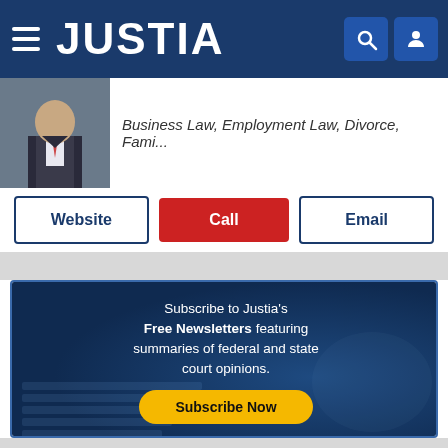JUSTIA
Business Law, Employment Law, Divorce, Fami...
Website | Call | Email
[Figure (infographic): Justia newsletter subscription card with dark blue background showing keyboard image, text 'Subscribe to Justia's Free Newsletters featuring summaries of federal and state court opinions.' with a yellow 'Subscribe Now' button]
Subscribe to Justia's Free Newsletters featuring summaries of federal and state court opinions.